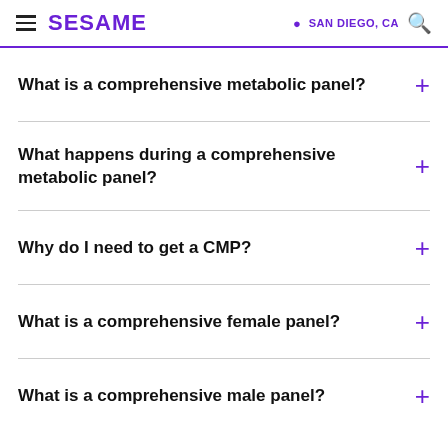SESAME | SAN DIEGO, CA
What is a comprehensive metabolic panel?
What happens during a comprehensive metabolic panel?
Why do I need to get a CMP?
What is a comprehensive female panel?
What is a comprehensive male panel?